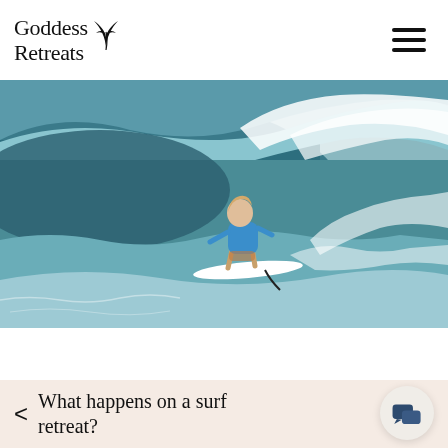Goddess Retreats
[Figure (photo): Woman in blue swimwear surfing a large ocean wave, crouched low on a white surfboard with spray around her.]
What happens on a surf retreat?